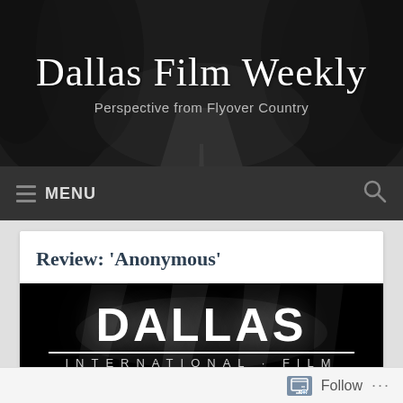[Figure (screenshot): Dark header banner with a winding road through dark trees in black and white]
Dallas Film Weekly
Perspective from Flyover Country
MENU
Review: 'Anonymous'
[Figure (photo): Black and white image showing 'DALLAS INTERNATIONAL FILM' text logo]
Follow ...